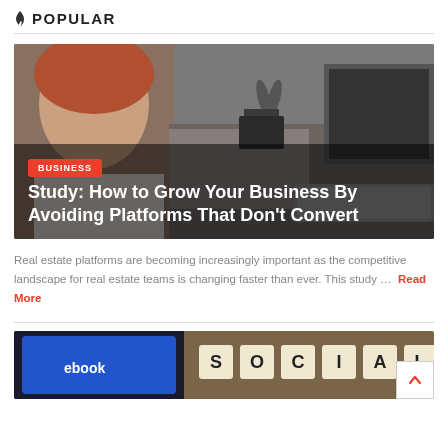🔥 POPULAR
[Figure (photo): Office desk photo with a smiling woman at left, scissors, desktop computer, keyboard; overlaid with BUSINESS badge and article title. Below: a photo of a smartphone showing Facebook logo next to SOCIAL scrabble tiles.]
Study: How to Grow Your Business By Avoiding Platforms That Don't Convert
Real estate platforms are becoming increasingly important as the competitive landscape for real estate teams is changing faster than ever. This study ... Read More